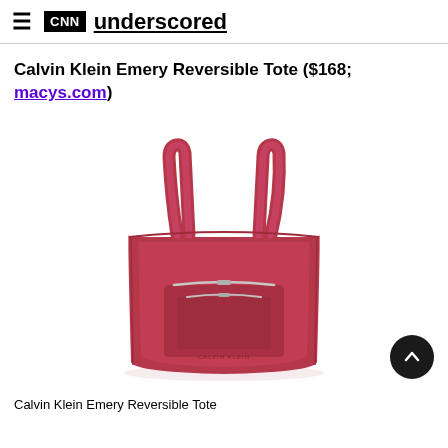CNN underscored
Calvin Klein Emery Reversible Tote ($168; macys.com)
[Figure (photo): Pink Calvin Klein Emery Reversible Tote bag with shoulder straps and front zipper pocket on white background]
Calvin Klein Emery Reversible Tote